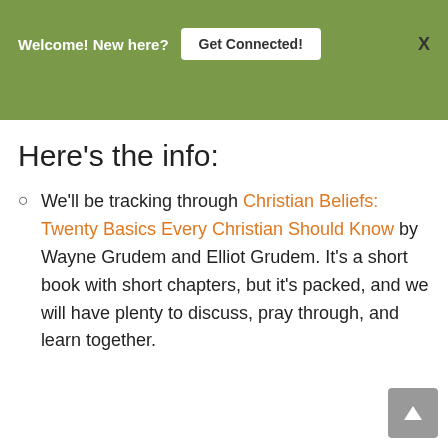Welcome! New here? Get Connected! X
next few months. We came up with a sweet, awesome title: Men's Book Studies!
Here's the info:
We'll be tracking through Christian Beliefs: Twenty Basics Every Christian Should Know by Wayne Grudem and Elliot Grudem. It's a short book with short chapters, but it's packed, and we will have plenty to discuss, pray through, and learn together.